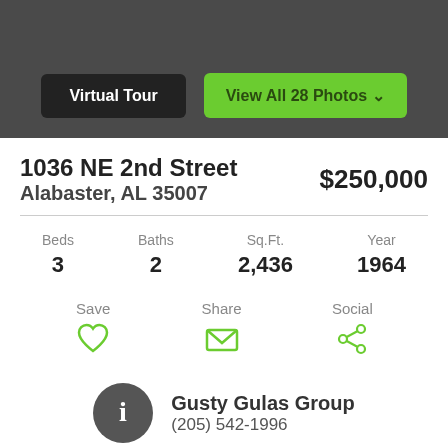[Figure (screenshot): Dark gray header bar with Virtual Tour and View All 28 Photos buttons]
1036 NE 2nd Street
Alabaster, AL 35007
$250,000
| Beds | Baths | Sq.Ft. | Year |
| --- | --- | --- | --- |
| 3 | 2 | 2,436 | 1964 |
Save | Share | Social
Gusty Gulas Group
(205) 542-1996
Schedule a Tour